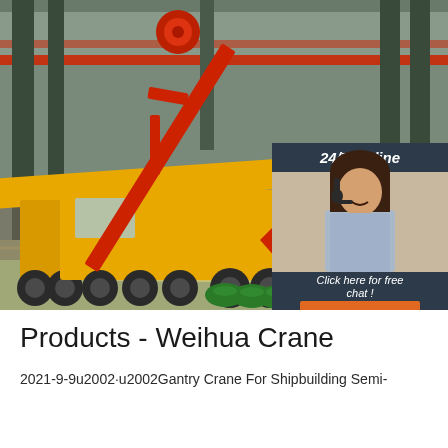[Figure (photo): Industrial warehouse/factory interior showing a large yellow gantry crane vehicle with red crane arm mechanism, green pipes on the floor. An overlay panel in the top-right shows a customer service representative with headset, text '24/7 Online', 'Click here for free chat!', and an orange QUOTATION button.]
Products - Weihua Crane
2021-9-9u2002·u2002Gantry Crane For Shipbuilding Semi-